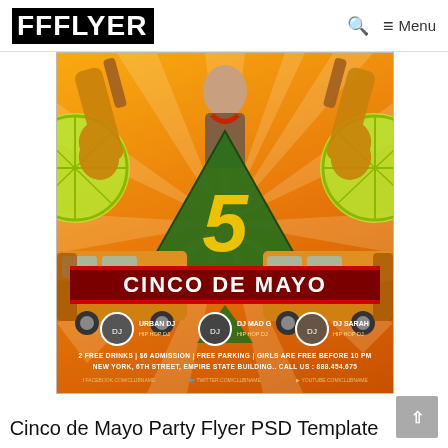FFFLYER  🔍  ≡ Menu
[Figure (illustration): Cinco de Mayo party flyer showing a woman with guitars, a green triangle with the number 5, a yellow bus, lime slices, DJs Urban DJ, DJ Mad G, DJ Sarah, and event details: 2 free drinks | $6 admission | free parking | girls are free before 10 PM. New York, 6th Street, Empire State Building. Call us: 888.454.675. Social links: facebook.com/clubname, twitter.com/clubname, youtube.com/clubname]
Cinco de Mayo Party Flyer PSD Template